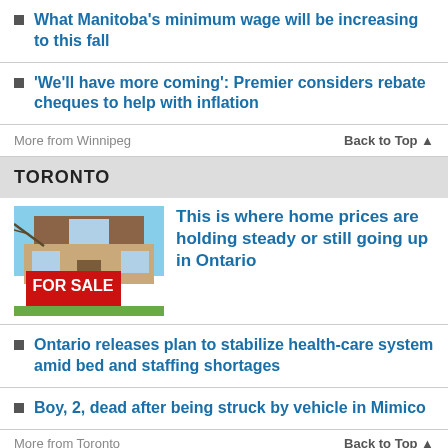What Manitoba's minimum wage will be increasing to this fall
'We'll have more coming': Premier considers rebate cheques to help with inflation
More from Winnipeg    Back to Top ▲
TORONTO
[Figure (photo): A house with a FOR SALE sign in front, brick modern home, blue sky with tree branches visible]
This is where home prices are holding steady or still going up in Ontario
Ontario releases plan to stabilize health-care system amid bed and staffing shortages
Boy, 2, dead after being struck by vehicle in Mimico
More from Toronto    Back to Top ▲